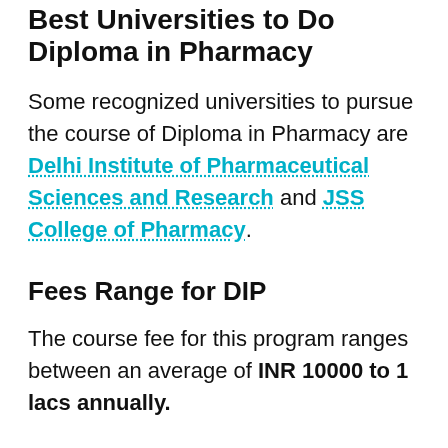Best Universities to Do Diploma in Pharmacy
Some recognized universities to pursue the course of Diploma in Pharmacy are Delhi Institute of Pharmaceutical Sciences and Research and JSS College of Pharmacy.
Fees Range for DIP
The course fee for this program ranges between an average of INR 10000 to 1 lacs annually.